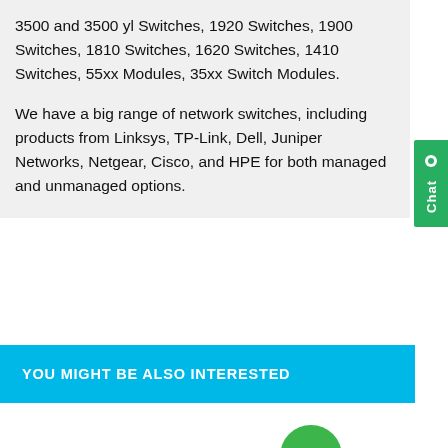3500 and 3500 yl Switches, 1920 Switches, 1900 Switches, 1810 Switches, 1620 Switches, 1410 Switches, 55xx Modules, 35xx Switch Modules.
We have a big range of network switches, including products from Linksys, TP-Link, Dell, Juniper Networks, Netgear, Cisco, and HPE for both managed and unmanaged options.
YOU MIGHT BE ALSO INTERESTED
[Figure (photo): A cardboard box product photo, partially visible at the bottom of the page, with a green scroll-to-top button overlaid.]